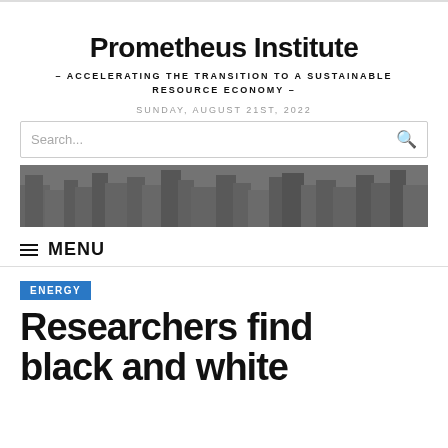Prometheus Institute
– ACCELERATING THE TRANSITION TO A SUSTAINABLE RESOURCE ECONOMY –
SUNDAY, AUGUST 21ST, 2022
[Figure (photo): Black and white aerial photograph of a city skyline with skyscrapers]
MENU
ENERGY
Researchers find black and white...